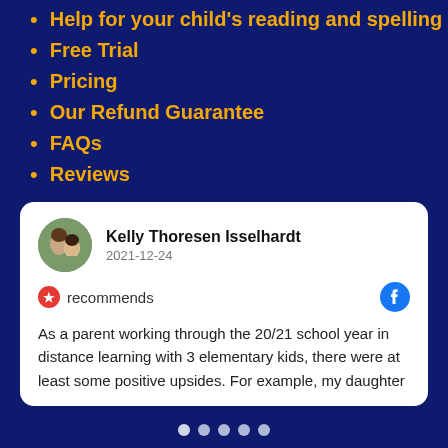Help for your child's reading and spelling
Free Trial
Pricing
Our Refund Guarantee
FAQs
Reviews
Kelly Thoresen Isselhardt
2021-12-24
recommends
As a parent working through the 20/21 school year in distance learning with 3 elementary kids, there were at least some positive upsides. For example, my daughter